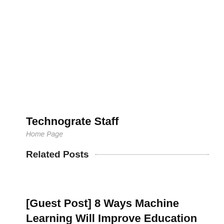Technograte Staff
Home Page
Related Posts
[Guest Post] 8 Ways Machine Learning Will Improve Education
08/28/2020, No Comment